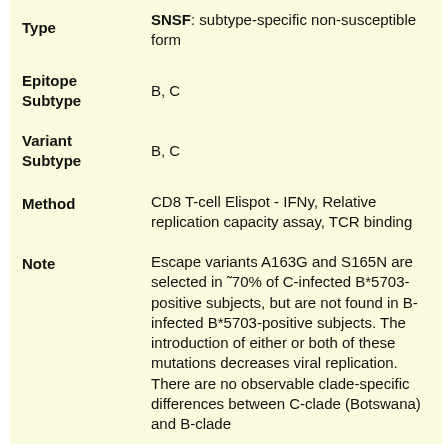| Field | Value |
| --- | --- |
| Type | SNSF: subtype-specific non-susceptible form |
| Epitope Subtype | B, C |
| Variant Subtype | B, C |
| Method | CD8 T-cell Elispot - IFNy, Relative replication capacity assay, TCR binding |
| Note | Escape variants A163G and S165N are selected in ~70% of C-infected B*5703-positive subjects, but are not found in B-infected B*5703-positive subjects. The introduction of either or both of these mutations decreases viral replication. There are no observable clade-specific differences between C-clade (Botswana) and B-clade |